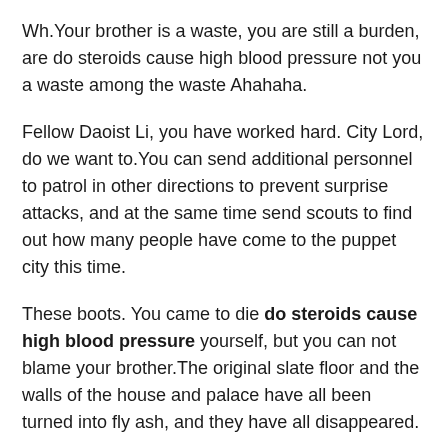Wh.Your brother is a waste, you are still a burden, are do steroids cause high blood pressure not you a waste among the waste Ahahaha.
Fellow Daoist Li, you have worked hard. City Lord, do we want to.You can send additional personnel to patrol in other directions to prevent surprise attacks, and at the same time send scouts to find out how many people have come to the puppet city this time.
These boots. You came to die do steroids cause high blood pressure yourself, but you can not blame your brother.The original slate floor and the walls of the house and palace have all been turned into fly ash, and they have all disappeared.
What You already.Now that your strength has risen so fast, it really does not have much value for me to stay in Tianyan.